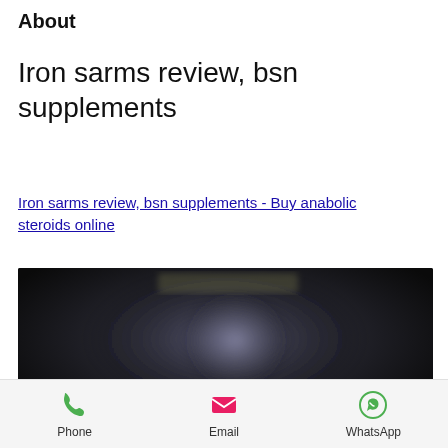About
Iron sarms review, bsn supplements
Iron sarms review, bsn supplements - Buy anabolic steroids online
[Figure (photo): Blurred dark background image showing supplement products and a muscular figure]
Phone   Email   WhatsApp